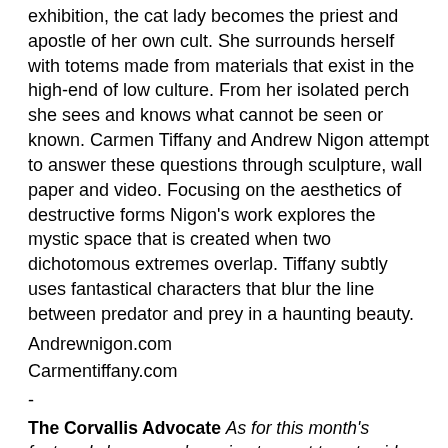exhibition, the cat lady becomes the priest and apostle of her own cult. She surrounds herself with totems made from materials that exist in the high-end of low culture. From her isolated perch she sees and knows what cannot be seen or known. Carmen Tiffany and Andrew Nigon attempt to answer these questions through sculpture, wall paper and video. Focusing on the aesthetics of destructive forms Nigon's work explores the mystic space that is created when two dichotomous extremes overlap. Tiffany subtly uses fantastical characters that blur the line between predator and prey in a haunting beauty.
Andrewnigon.com
Carmentiffany.com
-
The Corvallis Advocate As for this month's featured shows, you're going to want to set aside some time for G-Litter at CEI Artworks. Normally I like to flesh my interpretation of something out for you, but I doubt I can top the press release: "G-Litter explores the spirituality and hypothetical culture of